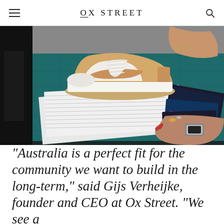OX STREET
[Figure (photo): A Nike Dunk Low sneaker in white and tan/wheat colorway sitting on a green cutting mat, with a person's hands holding the shoe and sorting through sticker labels and tags. Various Ox Street branded materials visible on the mat.]
“Australia is a perfect fit for the community we want to build in the long-term,” said Gijs Verheijke, founder and CEO at Ox Street. “We see a